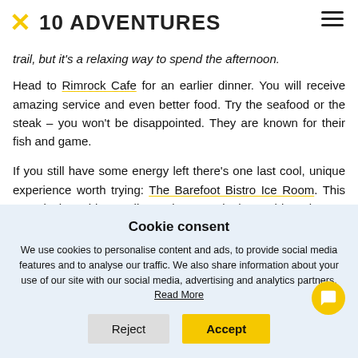✕ 10 ADVENTURES
trail, but it's a relaxing way to spend the afternoon.
Head to Rimrock Cafe for an earlier dinner. You will receive amazing service and even better food. Try the seafood or the steak – you won't be disappointed. They are known for their fish and game.
If you still have some energy left there's one last cool, unique experience worth trying: The Barefoot Bistro Ice Room. This room is the coldest vodka tasting room in the world. It's kept at -32C at all times. Even people
Cookie consent

We use cookies to personalise content and ads, to provide social media features and to analyse our traffic. We also share information about your use of our site with our social media, advertising and analytics partners. Read More